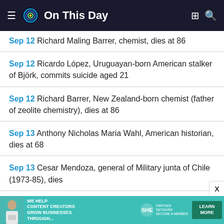On This Day
Sep 12 Richard Maling Barrer, chemist, dies at 86
Sep 12 Ricardo López, Uruguayan-born American stalker of Björk, commits suicide aged 21
Sep 12 Richard Barrer, New Zealand-born chemist (father of zeolite chemistry), dies at 86
Sep 13 Anthony Nicholas Maria Wahl, American historian, dies at 68
Sep 13 Cesar Mendoza, general of Military junta of Chile (1973-85), dies
[Figure (infographic): SHE Partner Network advertisement banner: 'We help content creators grow businesses through...' with Learn More button]